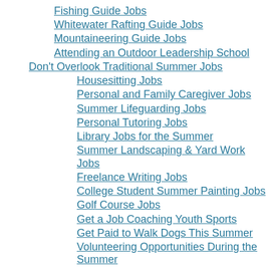Fishing Guide Jobs
Whitewater Rafting Guide Jobs
Mountaineering Guide Jobs
Attending an Outdoor Leadership School
Don't Overlook Traditional Summer Jobs
Housesitting Jobs
Personal and Family Caregiver Jobs
Summer Lifeguarding Jobs
Personal Tutoring Jobs
Library Jobs for the Summer
Summer Landscaping & Yard Work Jobs
Freelance Writing Jobs
College Student Summer Painting Jobs
Golf Course Jobs
Get a Job Coaching Youth Sports
Get Paid to Walk Dogs This Summer
Volunteering Opportunities During the Summer
Summer Jobs for Teens